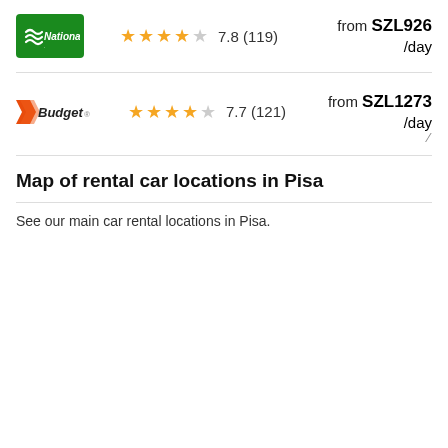[Figure (logo): National car rental logo - green background with white wave/National text]
7.8 (119)
from SZL926
/day
[Figure (logo): Budget car rental logo - orange/red chevron with Budget text]
7.7 (121)
from SZL1273
/day
Map of rental car locations in Pisa
See our main car rental locations in Pisa.